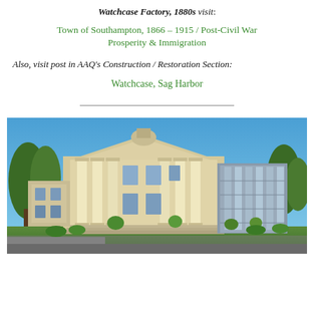Watchcase Factory, 1880s visit:
Town of Southampton, 1866 – 1915 / Post-Civil War Prosperity & Immigration
Also, visit post in AAQ's Construction / Restoration Section:
Watchcase, Sag Harbor
[Figure (photo): Exterior photograph of a neoclassical building with large stone columns at the entrance, connected to a modern glass-and-stone wing, under a clear blue sky with trees in the background.]